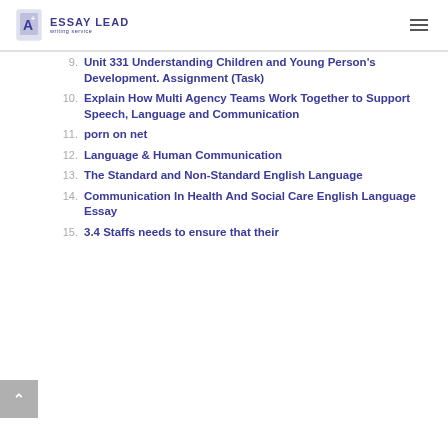ESSAY LEAD writing service
9. Unit 331 Understanding Children and Young Person's Development. Assignment (Task)
10. Explain How Multi Agency Teams Work Together to Support Speech, Language and Communication
11. porn on net
12. Language & Human Communication
13. The Standard and Non-Standard English Language
14. Communication In Health And Social Care English Language Essay
15. 3.4 Staffs needs to ensure that their